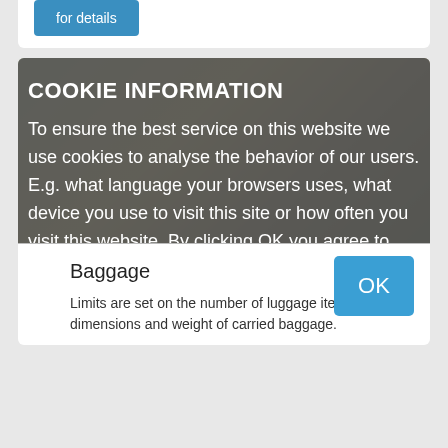[Figure (photo): Airport scene with luggage carts and an airplane in the background, partially visible beneath a semi-transparent cookie consent overlay]
COOKIE INFORMATION
To ensure the best service on this website we use cookies to analyse the behavior of our users. E.g. what language your browsers uses, what device you use to visit this site or how often you visit this website. By clicking OK you agree to our usage of cookies and webtracking tools (e.g. Google analytics)', copyrightText: 'All rights reserved. © TAV Technologies
Baggage
Limits are set on the number of luggage items, dimensions and weight of carried baggage.